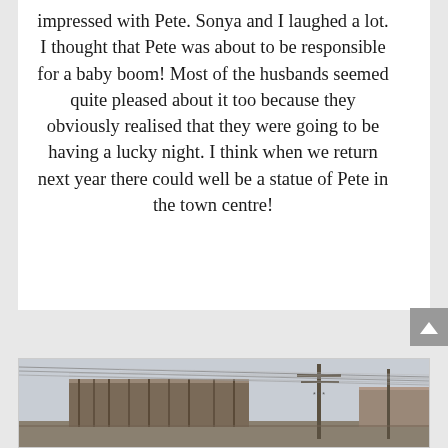impressed with Pete. Sonya and I laughed a lot. I thought that Pete was about to be responsible for a baby boom! Most of the husbands seemed quite pleased about it too because they obviously realised that they were going to be having a lucky night. I think when we return next year there could well be a statue of Pete in the town centre!
[Figure (photo): A street scene photograph showing buildings with utility poles and overhead wires stretching across the image. The scene appears to be in an Asian town or city with low commercial buildings visible.]